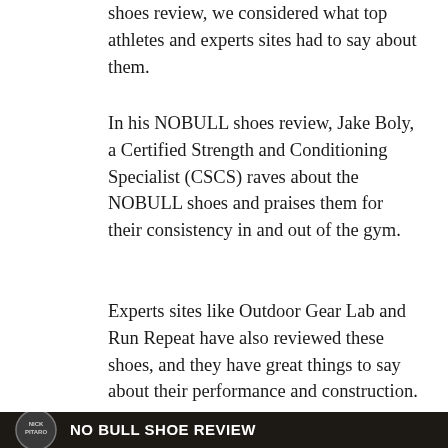shoes review, we considered what top athletes and experts sites had to say about them.
In his NOBULL shoes review, Jake Boly, a Certified Strength and Conditioning Specialist (CSCS) raves about the NOBULL shoes and praises them for their consistency in and out of the gym.
Experts sites like Outdoor Gear Lab and Run Repeat have also reviewed these shoes, and they have great things to say about their performance and construction.
[Figure (screenshot): Video thumbnail showing 'NO BULL SHOE REVIEW' with a circular avatar showing 'NICK PITARO' on the left and a person's face partially visible on the right, dark background.]